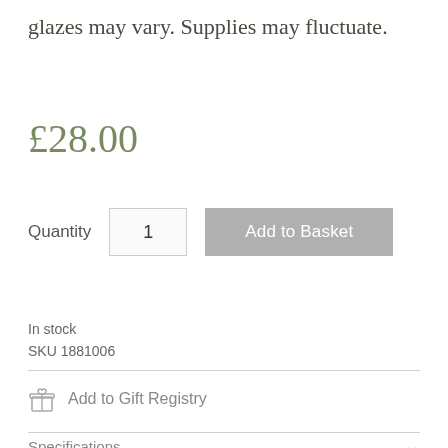glazes may vary. Supplies may fluctuate.
£28.00
Quantity   1   Add to Basket
In stock
SKU 1881006
Add to Gift Registry
Specifications